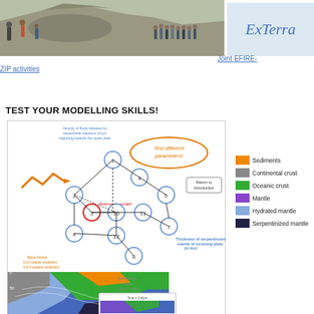[Figure (photo): Field photo of geologists examining rocky outcrop, group of people on rocky terrain]
ExTerra
Joint EFIRE-
ZIP activities
TEST YOUR MODELLING SKILLS!
[Figure (infographic): Interactive modelling interface showing a network flowchart of numbered nodes (1-12) connected by lines, with 'Test different parameters!' oval callout and 'Return to Introduction' button, plus a subduction zone cross-section showing geological layers (sediments, continental crust, oceanic crust, mantle, hydrated mantle, serpentinized mantle) with annotations for fluid velocity, basal friction, and serpentinized mantle thickness. Reference model shown after 17 Myrs, inset shows Time=2 Myrs.]
[Figure (other): Legend with color swatches: orange=Sediments, gray=Continental crust, green=Oceanic crust, purple=Mantle, light blue=Hydrated mantle, dark navy=Serpentinized mantle]